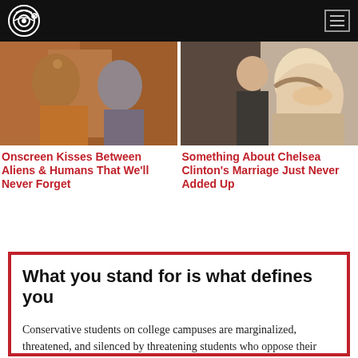Campus Reform logo and navigation
[Figure (photo): Article thumbnail: Star Trek alien and human characters in an on-screen kiss scene]
Onscreen Kisses Between Aliens & Humans That We'll Never Forget
[Figure (photo): Article thumbnail: Photo of Chelsea Clinton smiling at an event]
Something About Chelsea Clinton's Marriage Just Never Added Up
What you stand for is what defines you
Conservative students on college campuses are marginalized, threatened, and silenced by threatening students who oppose their views, or radicalized liberal professors or administrators. Campus Reform